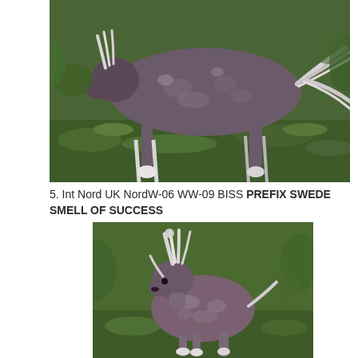[Figure (photo): Chinese Crested dog photographed from the side, hairless body with white feathering on feet and tail, standing on green grass]
5. Int Nord UK NordW-06 WW-09 BISS PREFIX SWEDE SMELL OF SUCCESS
[Figure (photo): Chinese Crested dog photographed facing slightly left, hairless with crest and white feathering, standing on green grass]